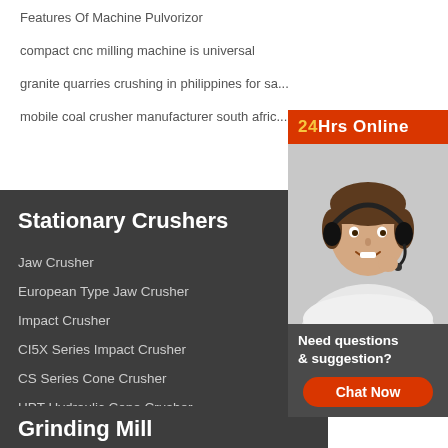Features Of Machine Pulvorizor
compact cnc milling machine is universal
granite quarries crushing in philippines for sa...
mobile coal crusher manufacturer south afric...
[Figure (photo): Customer service representative wearing headset, smiling, with 24Hrs Online banner overlay]
Stationary Crushers
Jaw Crusher
European Type Jaw Crusher
Impact Crusher
CI5X Series Impact Crusher
CS Series Cone Crusher
HPT Hydraulic Cone Crusher
VSI6X Series Vertical Crusher
Grinding Mill
Need questions & suggestion?
Chat Now